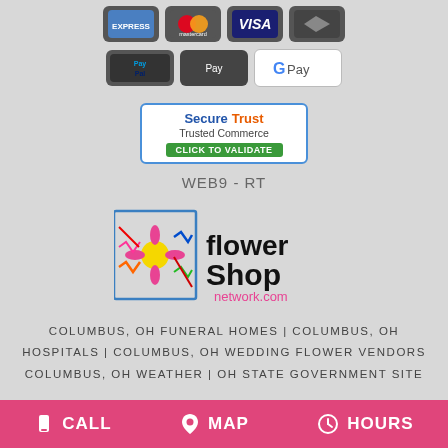[Figure (logo): Payment method icons: American Express, Mastercard, Visa, and another card (dark), plus PayPal, Apple Pay, Google Pay]
[Figure (logo): SecureTrust Trusted Commerce badge with CLICK TO VALIDATE button]
WEB9-RT
[Figure (logo): Flower Shop Network logo with colorful flower illustration and flowershopnetwork.com text]
COLUMBUS, OH FUNERAL HOMES | COLUMBUS, OH HOSPITALS | COLUMBUS, OH WEDDING FLOWER VENDORS COLUMBUS, OH WEATHER | OH STATE GOVERNMENT SITE
CALL  MAP  HOURS